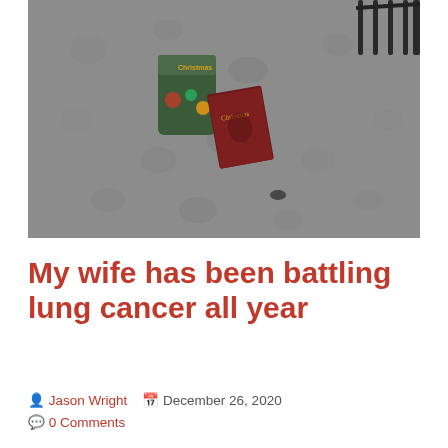[Figure (photo): Photo of a Christmas cookie tin and a book with 'Christmas' on the cover, placed on a concrete or stone floor surface. A black hardware railing is visible in the top right corner.]
My wife has been battling lung cancer all year
Jason Wright   December 26, 2020
0 Comments